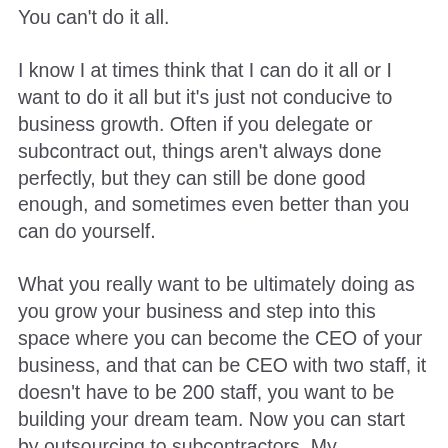You can't do it all.
I know I at times think that I can do it all or I want to do it all but it's just not conducive to business growth. Often if you delegate or subcontract out, things aren't always done perfectly, but they can still be done good enough, and sometimes even better than you can do yourself.
What you really want to be ultimately doing as you grow your business and step into this space where you can become the CEO of your business, and that can be CEO with two staff, it doesn't have to be 200 staff, you want to be building your dream team. Now you can start by outsourcing to subcontractors. My subcontractors helped me build my business to be what they are today, especially my branding expert and web